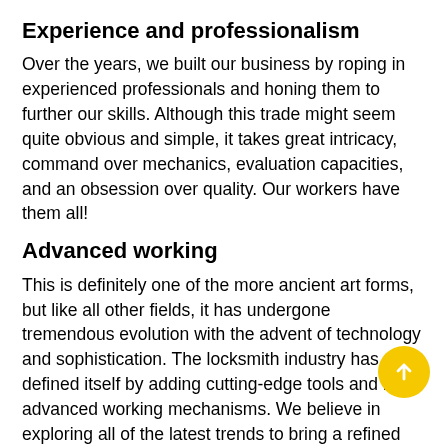Experience and professionalism
Over the years, we built our business by roping in experienced professionals and honing them to further our skills. Although this trade might seem quite obvious and simple, it takes great intricacy, command over mechanics, evaluation capacities, and an obsession over quality. Our workers have them all!
Advanced working
This is definitely one of the more ancient art forms, but like all other fields, it has undergone tremendous evolution with the advent of technology and sophistication. The locksmith industry has re-defined itself by adding cutting-edge tools and more advanced working mechanisms. We believe in exploring all of the latest trends to bring a refined experience to our clients.
All-day availability